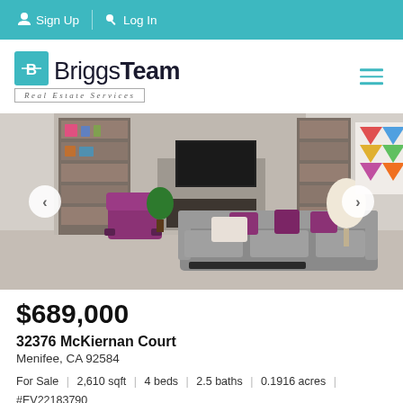Sign Up | Log In
[Figure (logo): BriggsTeam Real Estate Services logo with teal icon and stylized text]
[Figure (photo): Interior photo of a modern living room with grey sectional sofa, purple accent pillows, fireplace, bookshelf, and colorful geometric wall art]
$689,000
32376 McKiernan Court
Menifee, CA 92584
For Sale | 2,610 sqft | 4 beds | 2.5 baths | 0.1916 acres | #EV22183790